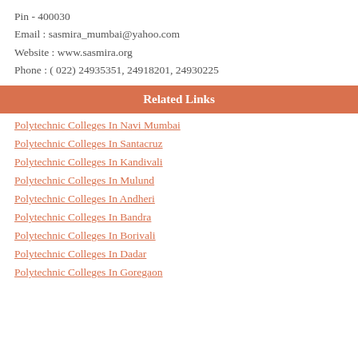Pin - 400030
Email : sasmira_mumbai@yahoo.com
Website : www.sasmira.org
Phone : ( 022) 24935351, 24918201, 24930225
Related Links
Polytechnic Colleges In Navi Mumbai
Polytechnic Colleges In Santacruz
Polytechnic Colleges In Kandivali
Polytechnic Colleges In Mulund
Polytechnic Colleges In Andheri
Polytechnic Colleges In Bandra
Polytechnic Colleges In Borivali
Polytechnic Colleges In Dadar
Polytechnic Colleges In Goregaon